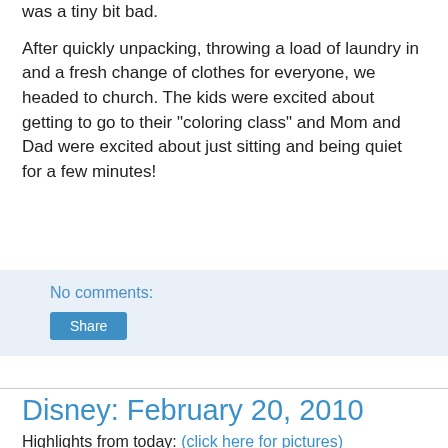was a tiny bit bad.
After quickly unpacking, throwing a load of laundry in and a fresh change of clothes for everyone, we headed to church. The kids were excited about getting to go to their "coloring class" and Mom and Dad were excited about just sitting and being quiet for a few minutes!
No comments:
Share
Disney: February 20, 2010
Highlights from today: (click here for pictures)
We ate our breakfast at the hotel and then loaded up the car. We were mostly packed but it still took a little bit of time
[Figure (photo): A polaroid-style photo showing a ship mast or tall structure against a grey sky]